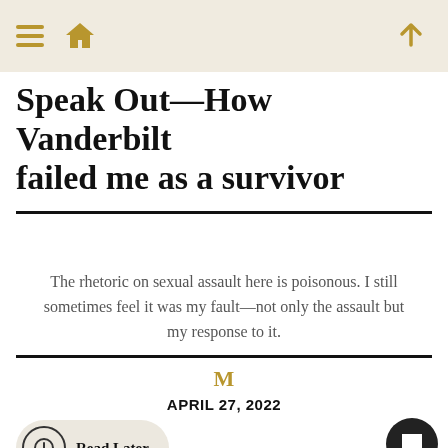Navigation bar with hamburger menu, home icon, and up arrow icon
Speak Out—How Vanderbilt failed me as a survivor
The rhetoric on sexual assault here is poisonous. I still sometimes feel it was my fault—not only the assault but my response to it.
M
APRIL 27, 2022
Read Later
Editor's Note: This piece contains mention of sexual assault. The [Hustler] has elected to publish this story with the author's first initial rather t[han]